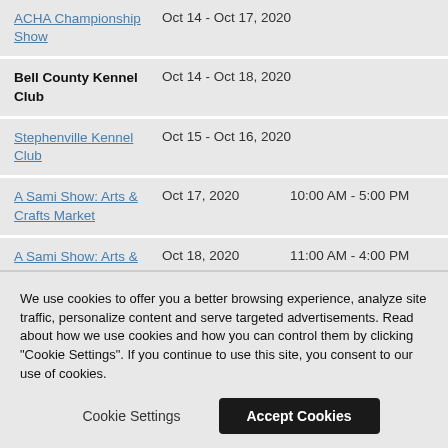ACHA Championship Show | Oct 14 - Oct 17, 2020
Bell County Kennel Club | Oct 14 - Oct 18, 2020
Stephenville Kennel Club | Oct 15 - Oct 16, 2020
A Sami Show: Arts & Crafts Market | Oct 17, 2020 | 10:00 AM - 5:00 PM
A Sami Show: Arts & Crafts Market | Oct 18, 2020 | 11:00 AM - 4:00 PM
We use cookies to offer you a better browsing experience, analyze site traffic, personalize content and serve targeted advertisements. Read about how we use cookies and how you can control them by clicking "Cookie Settings". If you continue to use this site, you consent to our use of cookies.
Cookie Settings | Accept Cookies